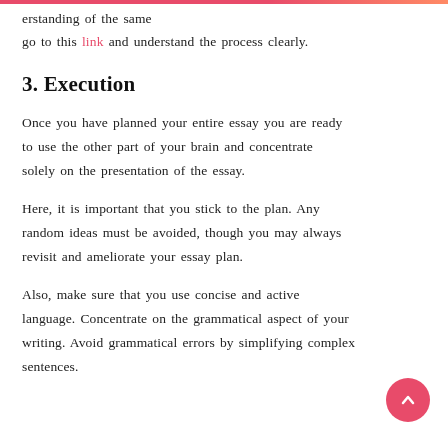erstanding of the same go to this link and understand the process clearly.
3. Execution
Once you have planned your entire essay you are ready to use the other part of your brain and concentrate solely on the presentation of the essay.
Here, it is important that you stick to the plan. Any random ideas must be avoided, though you may always revisit and ameliorate your essay plan.
Also, make sure that you use concise and active language. Concentrate on the grammatical aspect of your writing. Avoid grammatical errors by simplifying complex sentences.